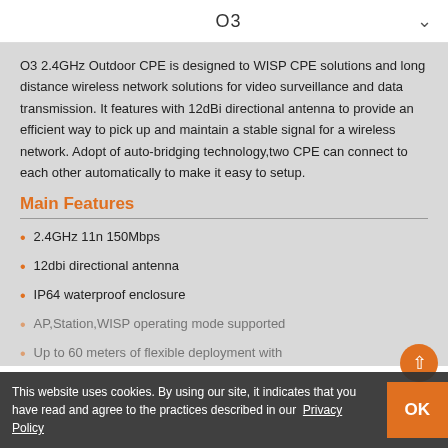O3
O3 2.4GHz Outdoor CPE is designed to WISP CPE solutions and long distance wireless network solutions for video surveillance and data transmission. It features with 12dBi directional antenna to provide an efficient way to pick up and maintain a stable signal for a wireless network. Adopt of auto-bridging technology,two CPE can connect to each other automatically to make it easy to setup.
Main Features
2.4GHz 11n 150Mbps
12dbi directional antenna
IP64 waterproof enclosure
AP,Station,WISP operating mode supported
Up to 60 meters of flexible deployment with
This website uses cookies. By using our site, it indicates that you have read and agree to the practices described in our Privacy Policy